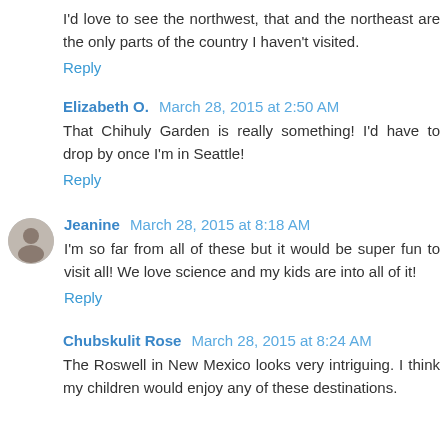I'd love to see the northwest, that and the northeast are the only parts of the country I haven't visited.
Reply
Elizabeth O. March 28, 2015 at 2:50 AM
That Chihuly Garden is really something! I'd have to drop by once I'm in Seattle!
Reply
Jeanine March 28, 2015 at 8:18 AM
I'm so far from all of these but it would be super fun to visit all! We love science and my kids are into all of it!
Reply
Chubskulit Rose March 28, 2015 at 8:24 AM
The Roswell in New Mexico looks very intriguing. I think my children would enjoy any of these destinations.